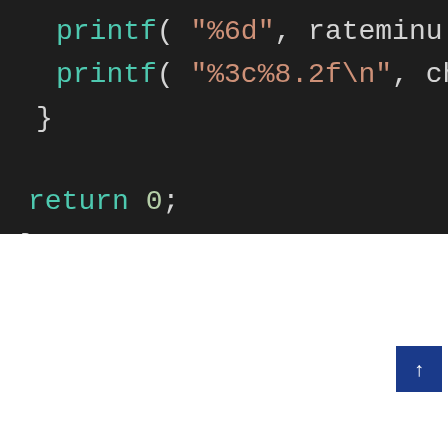[Figure (screenshot): Code editor screenshot showing C code snippet with printf statements, closing brace, return 0, and closing brace. Dark background with syntax highlighting in teal/cyan and orange colors.]
Register as a free Liker
[Figure (illustration): Circular teal clapping hands icon with text 'No Likes' below]
maplewing
[Figure (other): Blue scroll-to-top button with upward arrow]